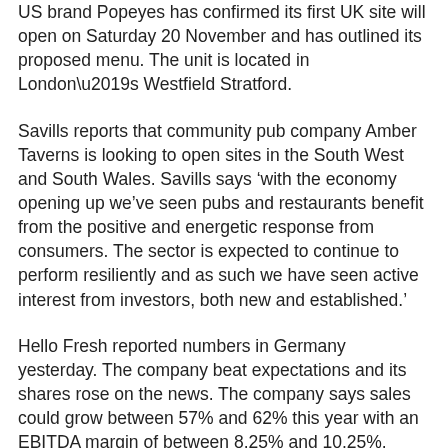US brand Popeyes has confirmed its first UK site will open on Saturday 20 November and has outlined its proposed menu. The unit is located in London’s Westfield Stratford.
Savills reports that community pub company Amber Taverns is looking to open sites in the South West and South Wales. Savills says ‘with the economy opening up we’ve seen pubs and restaurants benefit from the positive and energetic response from consumers. The sector is expected to continue to perform resiliently and as such we have seen active interest from investors, both new and established.’
Hello Fresh reported numbers in Germany yesterday. The company beat expectations and its shares rose on the news. The company says sales could grow between 57% and 62% this year with an EBITDA margin of between 8.25% and 10.25%.